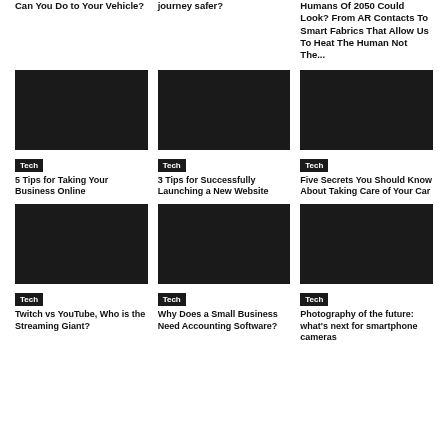Can You Do to Your Vehicle?
journey safer?
Humans Of 2050 Could Look? From AR Contacts To Smart Fabrics That Allow Us To Heat The Human Not The...
Tech
5 Tips for Taking Your Business Online
Tech
3 Tips for Successfully Launching a New Website
Tech
Five Secrets You Should Know About Taking Care of Your Car
Tech
Twitch vs YouTube, Who is the Streaming Giant?
Tech
Why Does a Small Business Need Accounting Software?
Tech
Photography of the future: what's next for smartphone cameras